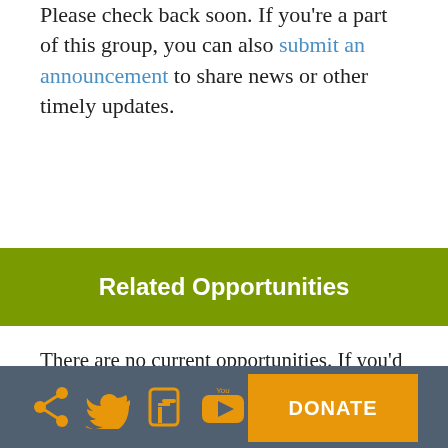Please check back soon. If you're a part of this group, you can also submit an announcement to share news or other timely updates.
Related Opportunities
There are no current opportunities. If you'd like to post a job, fellowship, or grant opportunity or share a CFP with this group, visit Jobs & Opportunities.
Social icons: share, twitter, facebook, youtube, rss | DONATE button